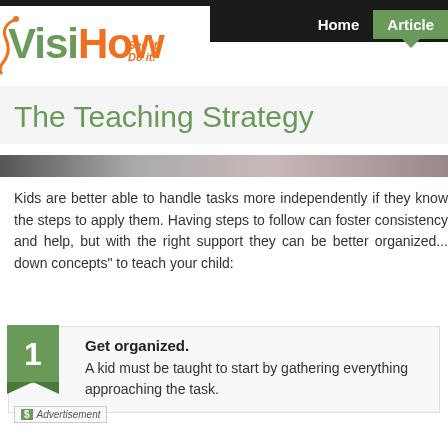[Figure (logo): VisiHow logo with tagline 'See it. Do it.' in green and orange colors]
Home  Articles
The Teaching Strategy
Kids are better able to handle tasks more independently if they know the steps to apply them. Having steps to follow can foster consistency... help, but with the right support they can be better organized... down concepts" to teach your child:
1. Get organized. A kid must be taught to start by gathering everything... approaching the task.
Advertisement